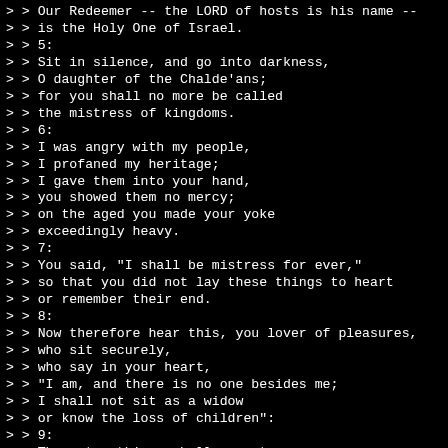> > Our Redeemer -- the LORD of hosts is his name --
> > is the Holy One of Israel.
> > 5:
> > Sit in silence, and go into darkness,
> > O daughter of the Chalde'ans;
> > for you shall no more be called
> > the mistress of kingdoms.
> > 6:
> > I was angry with my people,
> > I profaned my heritage;
> > I gave them into your hand,
> > you showed them no mercy;
> > on the aged you made your yoke
> > exceedingly heavy.
> > 7:
> > You said, "I shall be mistress for ever,"
> > so that you did not lay these things to heart
> > or remember their end.
> > 8:
> > Now therefore hear this, you lover of pleasures,
> > who sit securely,
> > who say in your heart,
> > "I am, and there is no one besides me;
> > I shall not sit as a widow
> > or know the loss of children":
> > 9:
> > These two things shall come to you
> > in a moment, in one day;
> > the loss of children and widowhood
> > shall come upon you in full measure.